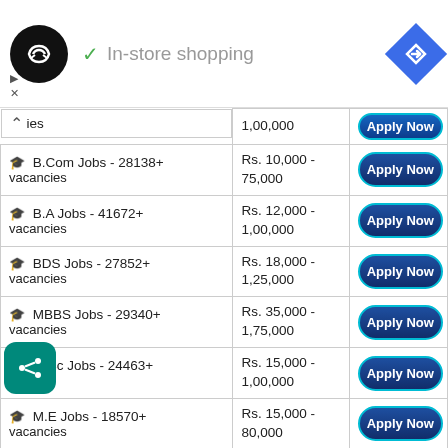[Figure (screenshot): Mobile app advertisement banner showing a logo, checkmark, 'In-store shopping' text, and a navigation arrow icon]
| Job Category | Salary Range | Action |
| --- | --- | --- |
| ies (partially visible) | 1,00,000 | Apply Now |
| 🎓 B.Com Jobs - 28138+ vacancies | Rs. 10,000 - 75,000 | Apply Now |
| 🎓 B.A Jobs - 41672+ vacancies | Rs. 12,000 - 1,00,000 | Apply Now |
| 🎓 BDS Jobs - 27852+ vacancies | Rs. 18,000 - 1,25,000 | Apply Now |
| 🎓 MBBS Jobs - 29340+ vacancies | Rs. 35,000 - 1,75,000 | Apply Now |
| 🎓 M.Sc Jobs - 24463+ vacancies | Rs. 15,000 - 1,00,000 | Apply Now |
| 🎓 M.E Jobs - 18570+ vacancies | Rs. 15,000 - 80,000 | Apply Now |